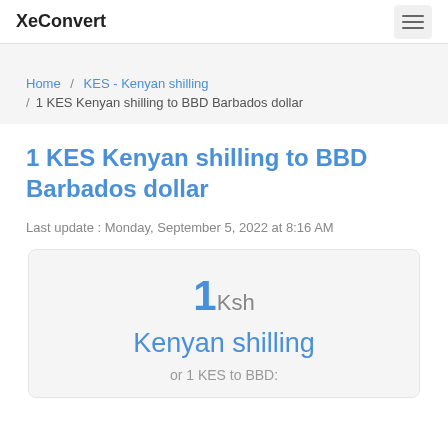XeConvert
Home / KES - Kenyan shilling / 1 KES Kenyan shilling to BBD Barbados dollar
1 KES Kenyan shilling to BBD Barbados dollar
Last update : Monday, September 5, 2022 at 8:16 AM
1 Ksh
Kenyan shilling
or 1 KES to BBD: